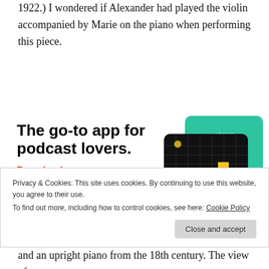1922.) I wondered if Alexander had played the violin accompanied by Marie on the piano when performing this piece.
[Figure (illustration): Advertisement for a podcast app showing app cards/screens including a '99% Invisible' podcast card on a black grid background, and teal and blue cards partially visible. Text reads 'The go-to app for podcast lovers. Download now']
Privacy & Cookies: This site uses cookies. By continuing to use this website, you agree to their use.
To find out more, including how to control cookies, see here: Cookie Policy
and an upright piano from the 18th century. The view of